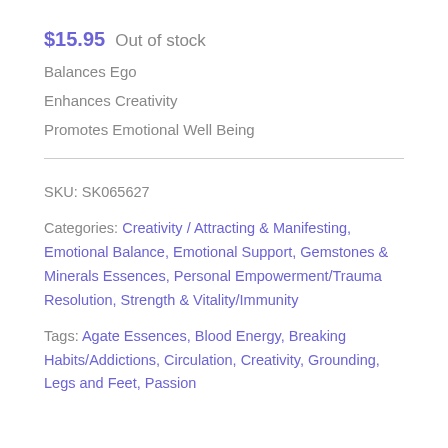$15.95  Out of stock
Balances Ego
Enhances Creativity
Promotes Emotional Well Being
SKU: SK065627
Categories: Creativity / Attracting & Manifesting, Emotional Balance, Emotional Support, Gemstones & Minerals Essences, Personal Empowerment/Trauma Resolution, Strength & Vitality/Immunity
Tags: Agate Essences, Blood Energy, Breaking Habits/Addictions, Circulation, Creativity, Grounding, Legs and Feet, Passion